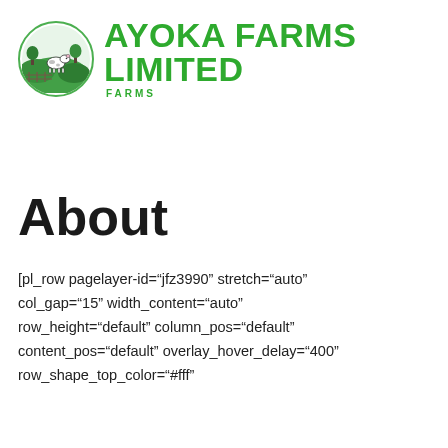[Figure (logo): Ayoka Farms Limited logo: circular green farm illustration with cow and trees, alongside bold green text 'AYOKA FARMS LIMITED' and 'FARMS' subtext]
About
[pl_row pagelayer-id="jfz3990" stretch="auto" col_gap="15" width_content="auto" row_height="default" column_pos="default" content_pos="default" overlay_hover_delay="400" row_shape_top_color="#fff"